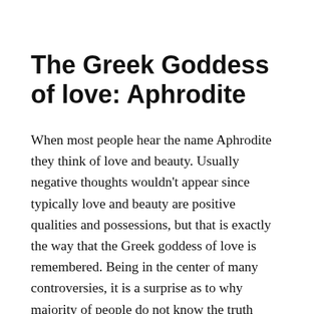The Greek Goddess of love: Aphrodite
When most people hear the name Aphrodite they think of love and beauty. Usually negative thoughts wouldn't appear since typically love and beauty are positive qualities and possessions, but that is exactly the way that the Greek goddess of love is remembered. Being in the center of many controversies, it is a surprise as to why majority of people do not know the truth behind this scandalous goddess.